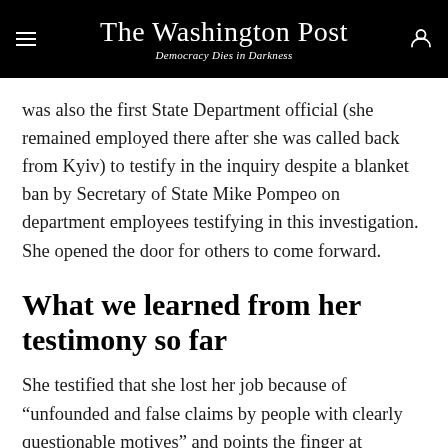The Washington Post
Democracy Dies in Darkness
was also the first State Department official (she remained employed there after she was called back from Kyiv) to testify in the inquiry despite a blanket ban by Secretary of State Mike Pompeo on department employees testifying in this investigation. She opened the door for others to come forward.
What we learned from her testimony so far
She testified that she lost her job because of “unfounded and false claims by people with clearly questionable motives” and points the finger at Giuliani